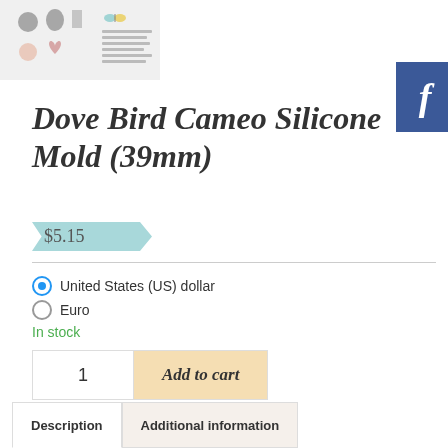[Figure (photo): Product thumbnail image showing silicone molds with various shapes]
[Figure (logo): Facebook button/icon - dark blue square with white italic f]
Dove Bird Cameo Silicone Mold (39mm)
$5.15
United States (US) dollar
Euro
In stock
1
Add to cart
SKU: mx1_301579241575
Category: Flowers / Cameos / Frame
Description
Additional information